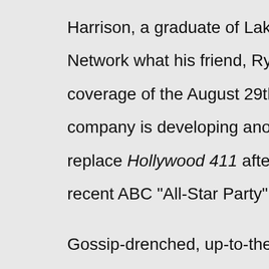Harrison, a graduate of Lake Highlands High School, also is to th Network what his friend, Ryan Seacrest, is to E! He'll host its red coverage of the August 29th Emmy Awards ceremony. And his fle company is developing another celebrity-driven show for TV Gui replace Hollywood 411 after "we kind of blow that up," Harrison s recent ABC "All-Star Party" event.
Gossip-drenched, up-to-the-second websites such as TMZ and R "have changed the game," he says after characterizing Entertain Access Hollywood and Extra as a bit behind the curve. "And if yo by the old rules, you're going to get killed."
Here's a guy who not only can put lipstick on a pig but rouge on a bite. For instance, the recent ugly bust-up between Bachelor sta of Dallas and proclaimed love of his life Vienna Girardi "almost e franchise. It doesn't taint it whatsoever," Harrison says. "It's not j . . . It's about all the social, economic and mental issues that we a And we show the viewers all of that -- uncut, unedited, raw. We s watch it and you judge and you decide and you Twitter and you...